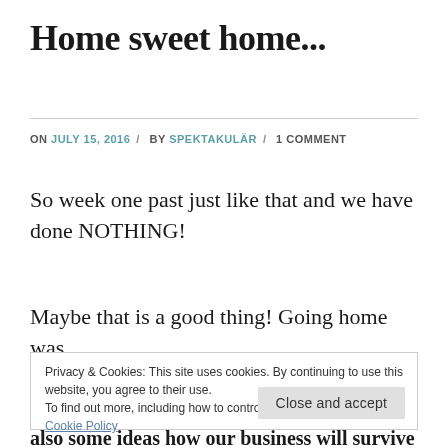Home sweet home...
ON JULY 15, 2016 / BY SPEKTAKULÄR / 1 COMMENT
So week one past just like that and we have done NOTHING!
Maybe that is a good thing! Going home was
Privacy & Cookies: This site uses cookies. By continuing to use this website, you agree to their use.
To find out more, including how to control cookies, see here:
Cookie Policy
also some ideas how our business will survive